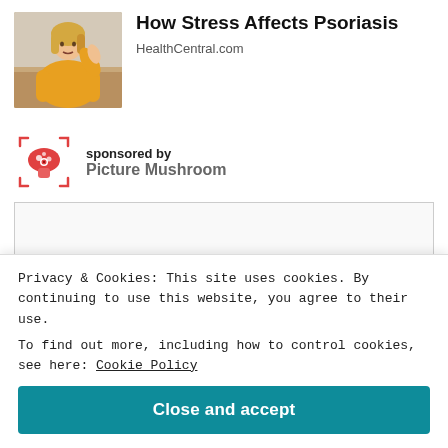[Figure (photo): Woman in yellow sweater looking at her arm, seated on a couch]
How Stress Affects Psoriasis
HealthCentral.com
[Figure (logo): Picture Mushroom app logo — red mushroom icon with scan corners]
sponsored by
Picture Mushroom
Privacy & Cookies: This site uses cookies. By continuing to use this website, you agree to their use.
To find out more, including how to control cookies, see here: Cookie Policy
Close and accept